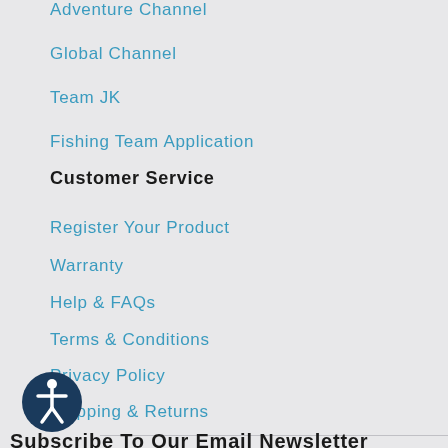Adventure Channel
Global Channel
Team JK
Fishing Team Application
Customer Service
Register Your Product
Warranty
Help & FAQs
Terms & Conditions
Privacy Policy
Shipping & Returns
Accessibility Statement
Sitemap
[Figure (illustration): Accessibility icon - circular dark blue icon with a white human figure in a star/accessibility pose]
Subscribe To Our Email Newsletter